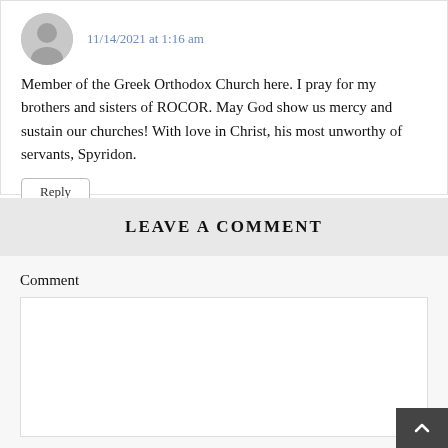11/14/2021 at 1:16 am
Member of the Greek Orthodox Church here. I pray for my brothers and sisters of ROCOR. May God show us mercy and sustain our churches! With love in Christ, his most unworthy of servants, Spyridon.
Reply
LEAVE A COMMENT
Comment